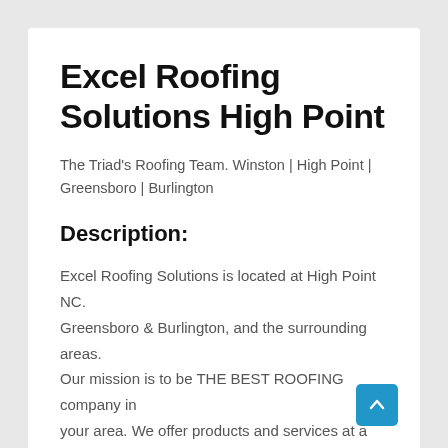Excel Roofing Solutions High Point
The Triad's Roofing Team. Winston | High Point | Greensboro | Burlington
Description:
Excel Roofing Solutions is located at High Point NC. Greensboro & Burlington, and the surrounding areas. Our mission is to be THE BEST ROOFING company in your area. We offer products and services at a low price, while still providing the best workmanship and customer service. We offer roof repair, roof replacement, and new roof construction for homes, offices as well as roof repairs for shopping centers